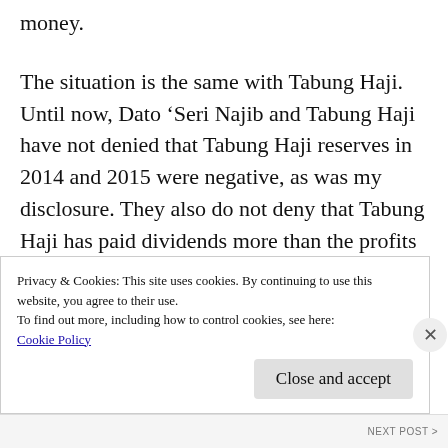money.
The situation is the same with Tabung Haji. Until now, Dato ‘Seri Najib and Tabung Haji have not denied that Tabung Haji reserves in 2014 and 2015 were negative, as was my disclosure. They also do not deny that Tabung Haji has paid dividends more than the profits generated from the business. They also did not deny that Tabung Haji lost billions of ringgit from failed investments in FGV, TH Heavy…
Privacy & Cookies: This site uses cookies. By continuing to use this website, you agree to their use.
To find out more, including how to control cookies, see here:
Cookie Policy
Close and accept